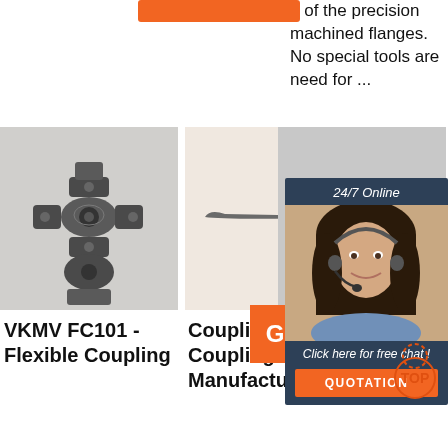e of the precision machined flanges. No special tools are need for ...
[Figure (photo): Orange button at top of page]
[Figure (infographic): 24/7 Online chat widget with female agent wearing headset, 'Click here for free chat!' text, and QUOTATION orange button]
[Figure (photo): VKMV FC101 flexible coupling mechanical part, gray metal, on white background]
[Figure (photo): Long thin needle-like coupling part on light background]
[Figure (photo): Axle or sleeve spline product, gray background]
VKMV FC101 - Flexible Coupling
Couplings: Coupling Manufacturer
Axle Or Sleeve - Spline